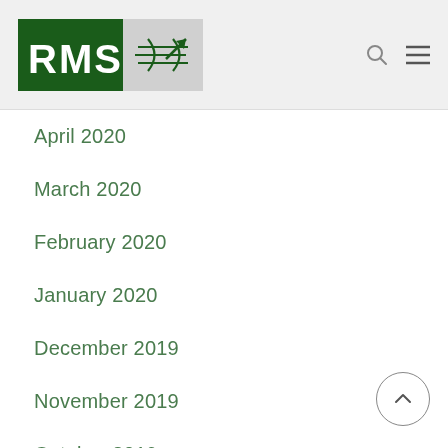RMSI
April 2020
March 2020
February 2020
January 2020
December 2019
November 2019
October 2019
September 2019
July 2019
June 2019